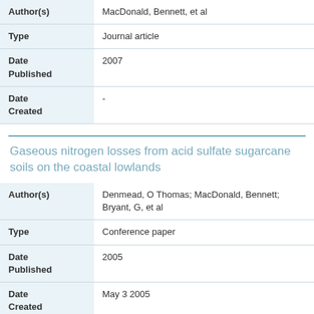| Field | Value |
| --- | --- |
| Author(s) | MacDonald, Bennett, et al |
| Type | Journal article |
| Date Published | 2007 |
| Date Created | - |
Gaseous nitrogen losses from acid sulfate sugarcane soils on the coastal lowlands
| Field | Value |
| --- | --- |
| Author(s) | Denmead, O Thomas; MacDonald, Bennett; Bryant, G, et al |
| Type | Conference paper |
| Date Published | 2005 |
| Date Created | May 3 2005 |